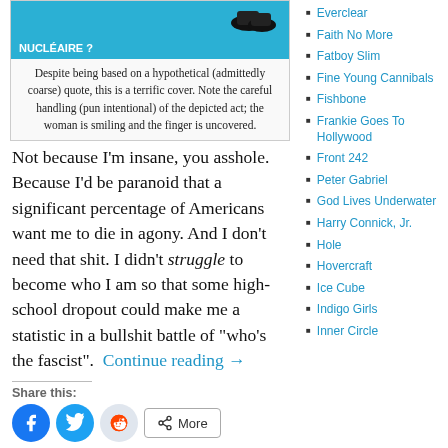[Figure (photo): Blue magazine/newspaper cover with white bold text in French: 'NUCLEAIRE ?' and image of shoes/feet at top]
Despite being based in a hypothetical (admittedly coarse) quote, this is a terrific cover. Note the careful handling (pun intentional) of the depicted act; the woman is smiling and the finger is uncovered.
Not because I’m insane, you asshole. Because I’d be paranoid that a significant percentage of Americans want me to die in agony. And I don’t need that shit. I didn’t struggle to become who I am so that some high-school dropout could make me a statistic in a bullshit battle of “who’s the fascist”.  Continue reading →
Share this:
Like this:
Everclear
Faith No More
Fatboy Slim
Fine Young Cannibals
Fishbone
Frankie Goes To Hollywood
Front 242
Peter Gabriel
God Lives Underwater
Harry Connick, Jr.
Hole
Hovercraft
Ice Cube
Indigo Girls
Inner Circle